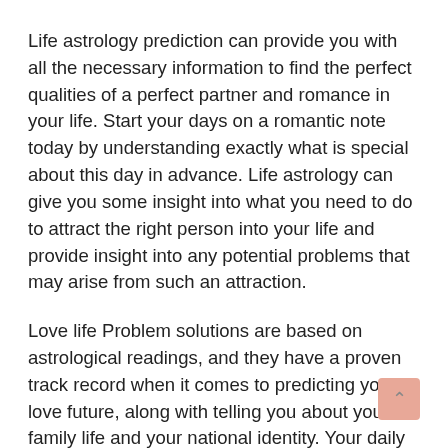Life astrology prediction can provide you with all the necessary information to find the perfect qualities of a perfect partner and romance in your life. Start your days on a romantic note today by understanding exactly what is special about this day in advance. Life astrology can give you some insight into what you need to do to attract the right person into your life and provide insight into any potential problems that may arise from such an attraction.
Love life Problem solutions are based on astrological readings, and they have a proven track record when it comes to predicting your love future, along with telling you about your family life and your national identity. Your daily life astrology prediction will be born out of your personal astrological reading and will be tailored to exactly